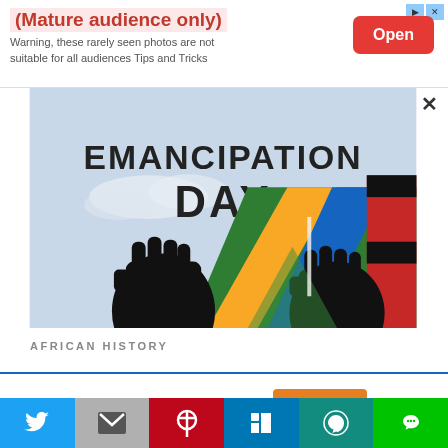[Figure (screenshot): Ad banner with '(Mature audience only)' title, warning text, and red Open button]
[Figure (photo): Emancipation Day artwork showing raised black fists, African flag colors (green, yellow, blue), and text 'EMANCIPATION DAY' on a light blue background]
AFRICAN HISTORY
This website uses cookies.
[Figure (infographic): Social sharing bar with Twitter, Gmail, Pinterest, LinkedIn, WhatsApp, and LINE buttons]